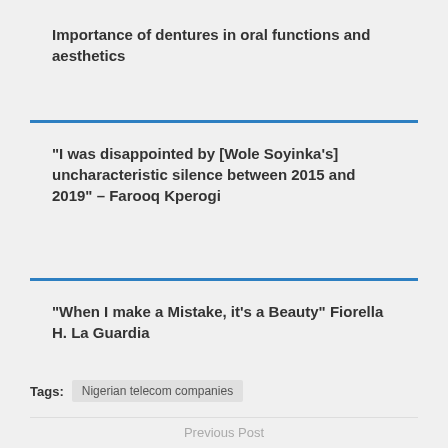Importance of dentures in oral functions and aesthetics
“I was disappointed by [Wole Soyinka’s] uncharacteristic silence between 2015 and 2019” – Farooq Kperogi
“When I make a Mistake, it’s a Beauty” Fiorella H. La Guardia
Tags: Nigerian telecom companies
Previous Post